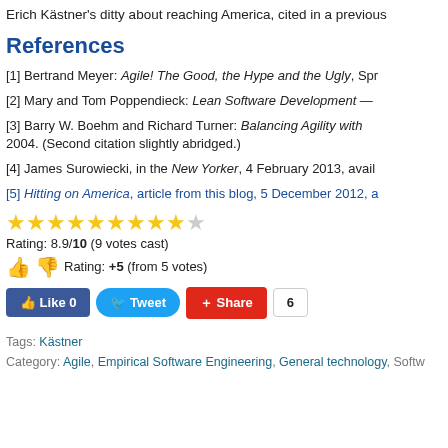Erich Kästner's ditty about reaching America, cited in a previous
References
[1] Bertrand Meyer: Agile! The Good, the Hype and the Ugly, Spr
[2] Mary and Tom Poppendieck: Lean Software Development —
[3] Barry W. Boehm and Richard Turner: Balancing Agility with 2004. (Second citation slightly abridged.)
[4] James Surowiecki, in the New Yorker, 4 February 2013, avail
[5] Hitting on America, article from this blog, 5 December 2012, a
Rating: 8.9/10 (9 votes cast)
Rating: +5 (from 5 votes)
Tags: Kästner
Category: Agile, Empirical Software Engineering, General technology, Softw